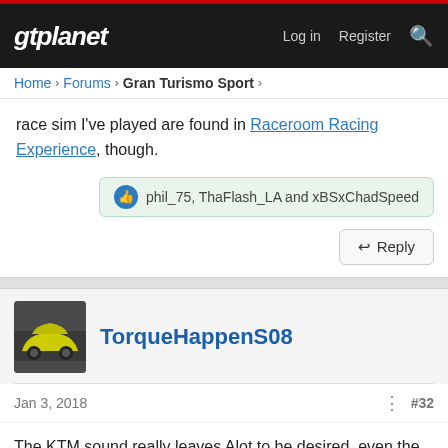gtplanet — Log in  Register
Home › Forums › Gran Turismo Sport ›
race sim I've played are found in Raceroom Racing Experience, though.
👍 phil_75, ThaFlash_LA and xBSxChadSpeed
↩ Reply
TorqueHappenS08
Jan 3, 2018
#32
The KTM sound really leaves Alot to be desired..even the Suzuki Swift sounds better(incar)..
👍 AgentBlackDog and phil_75
↩ Reply